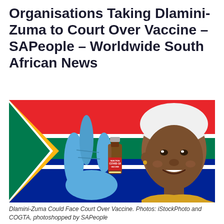Organisations Taking Dlamini-Zuma to Court Over Vaccine – SAPeople – Worldwide South African News
[Figure (photo): A composite photo showing a gloved hand holding a small COVID-19 vaccine vial in front of a South African flag, with a woman wearing a white headwrap smiling on the right side, representing Dlamini-Zuma.]
Dlamini-Zuma Could Face Court Over Vaccine. Photos: iStockPhoto and COGTA, photoshopped by SAPeople